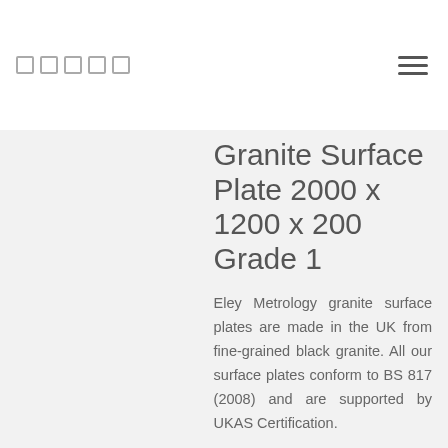★ ★ ★ ★ ★  ☰
Granite Surface Plate 2000 x 1200 x 200 Grade 1
Eley Metrology granite surface plates are made in the UK from fine-grained black granite. All our surface plates conform to BS 817 (2008) and are supported by UKAS Certification.